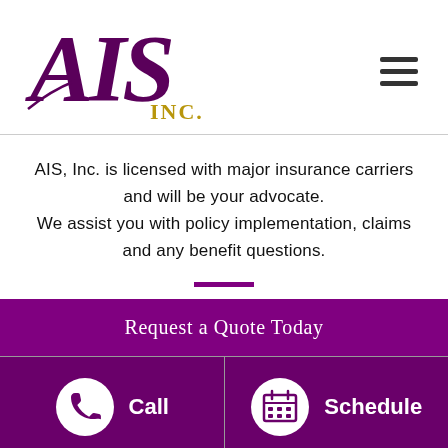[Figure (logo): AIS Inc. cursive/script purple logo with INC. in gold lettering]
AIS, Inc. is licensed with major insurance carriers and will be your advocate. We assist you with policy implementation, claims and any benefit questions.
Request a Quote Today
Call
Schedule